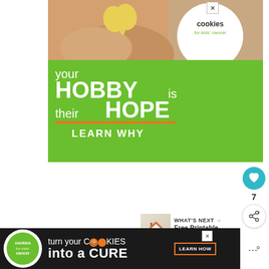[Figure (illustration): Green advertisement banner for 'Cookies for Kids' Cancer'. Shows hands holding a heart-shaped cookie at top. White circle logo with 'cookies for kids cancer'. Green background with white bold text: 'your HOBBY is their HOPE' with orange underline and 'LEARN WHY' in white bold text.]
[Figure (other): Heart/like button (teal circle with heart icon) and share button (circle with share icon), with count '7' between them, on the right side of the page.]
[Figure (other): What's Next section with thumbnail of Canada Day printable and text 'WHAT'S NEXT → Free Printable Canada Day...']
Materials:
[Figure (illustration): Bottom banner advertisement for 'Cookies for Kids' Cancer' on dark background. Green circle logo on left. Text: 'turn your COOKIES into a CURE' with 'LEARN HOW' button. Close X button top right of banner.]